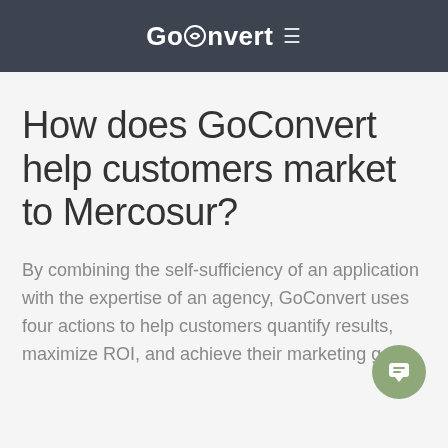GoConvert ≡
How does GoConvert help customers market to Mercosur?
By combining the self-sufficiency of an application with the expertise of an agency, GoConvert uses four actions to help customers quantify results, maximize ROI, and achieve their marketing goals.